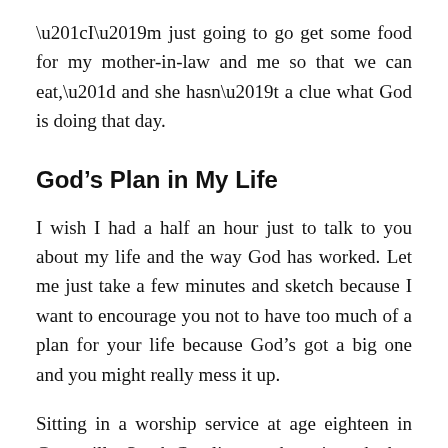“I’m just going to go get some food for my mother-in-law and me so that we can eat,” and she hasn’t a clue what God is doing that day.
God’s Plan in My Life
I wish I had a half an hour just to talk to you about my life and the way God has worked. Let me just take a few minutes and sketch because I want to encourage you not to have too much of a plan for your life because God’s got a big one and you might really mess it up.
Sitting in a worship service at age eighteen in Greenville, South Carolina, not knowing whether to go to a school at Emory in Atlanta, or Johns